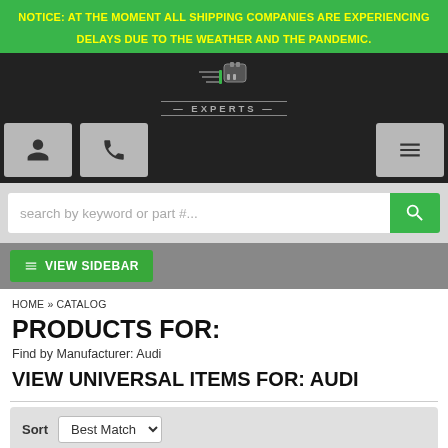NOTICE: AT THE MOMENT ALL SHIPPING COMPANIES ARE EXPERIENCING DELAYS DUE TO THE WEATHER AND THE PANDEMIC.
[Figure (logo): Connector Experts logo with plug icon and metallic text]
search by keyword or part #...
☰ VIEW SIDEBAR
HOME » CATALOG
PRODUCTS FOR:
Find by Manufacturer: Audi
VIEW UNIVERSAL ITEMS FOR: AUDI
Sort  Best Match